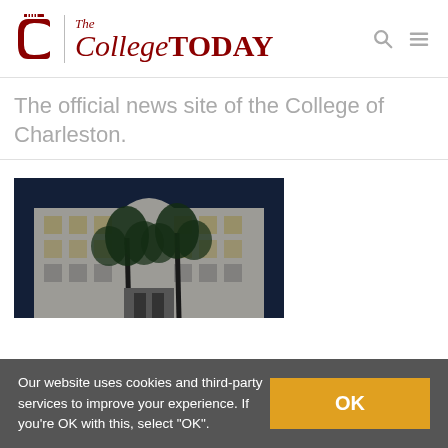The College TODAY — The official news site of the College of Charleston.
The official news site of the College of Charleston.
[Figure (photo): A white multi-story college building with palm trees in front, photographed from below against a dark blue sky. The image is partially desaturated/dark-toned.]
Our website uses cookies and third-party services to improve your experience. If you're OK with this, select "OK".